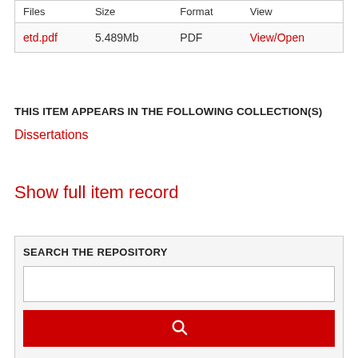| Files | Size | Format | View |
| --- | --- | --- | --- |
| etd.pdf | 5.489Mb | PDF | View/Open |
THIS ITEM APPEARS IN THE FOLLOWING COLLECTION(S)
Dissertations
Show full item record
SEARCH THE REPOSITORY